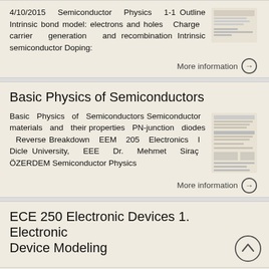4/10/2015 Semiconductor Physics 1-1 Outline Intrinsic bond model: electrons and holes Charge carrier generation and recombination Intrinsic semiconductor Doping:
More information →
Basic Physics of Semiconductors
Basic Physics of Semiconductors Semiconductor materials and their properties PN-junction diodes Reverse Breakdown EEM 205 Electronics I Dicle University, EEE Dr. Mehmet Siraç ÖZERDEM Semiconductor Physics
More information →
ECE 250 Electronic Devices 1. Electronic Device Modeling